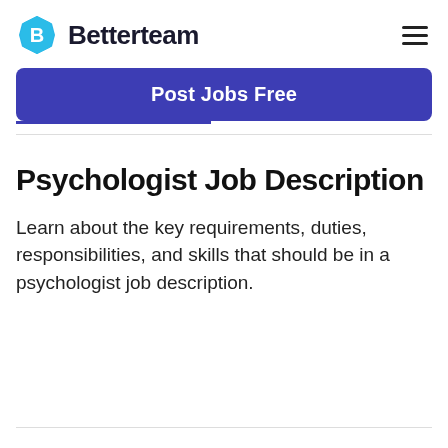Betterteam
[Figure (logo): Betterteam logo: blue hexagon badge with white letter B, followed by bold text 'Betterteam']
Post Jobs Free
Psychologist Job Description
Learn about the key requirements, duties, responsibilities, and skills that should be in a psychologist job description.